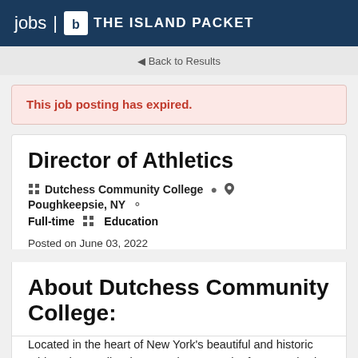jobs | THE ISLAND PACKET
Back to Results
This job posting has expired.
Director of Athletics
Dutchess Community College  Poughkeepsie, NY  Full-time  Education
Posted on June 03, 2022
About Dutchess Community College:
Located in the heart of New York's beautiful and historic mid-Hudson Valley, just 90 minutes north of New York City, DCC is